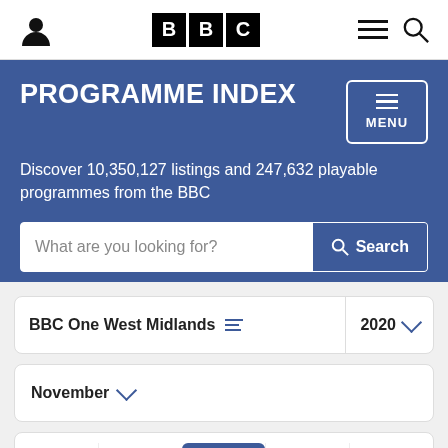[Figure (logo): BBC logo with three black boxes each containing a white letter B, B, C]
PROGRAMME INDEX
Discover 10,350,127 listings and 247,632 playable programmes from the BBC
What are you looking for? Search
Clear All
BBC One West Midlands  2020
November
Fri  Sat  Sun  Mon  Tue